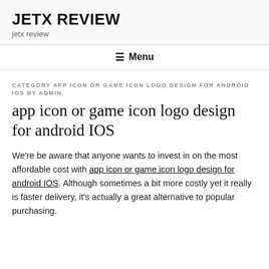JETX REVIEW
jetx review
≡ Menu
CATEGORY APP ICON OR GAME ICON LOGO DESIGN FOR ANDROID IOS BY ADMIN
app icon or game icon logo design for android IOS
We're be aware that anyone wants to invest in on the most affordable cost with app icon or game icon logo design for android IOS. Although sometimes a bit more costly yet it really is faster delivery, it's actually a great alternative to popular purchasing.